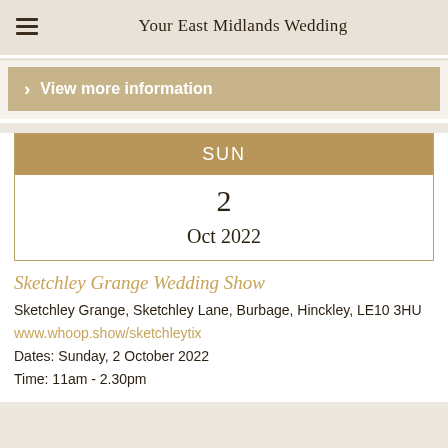Your East Midlands Wedding
> View more information
SUN
2
Oct 2022
Sketchley Grange Wedding Show
Sketchley Grange, Sketchley Lane, Burbage, Hinckley, LE10 3HU
www.whoop.show/sketchleytix
Dates: Sunday, 2 October 2022
Time: 11am - 2.30pm